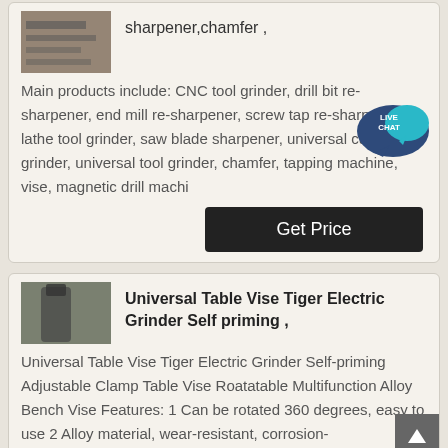[Figure (photo): Industrial machinery photo - top card]
sharpener,chamfer ,
Main products include: CNC tool grinder, drill bit re-sharpener, end mill re-sharpener, screw tap re-sharpener, lathe tool grinder, saw blade sharpener, universal cutter grinder, universal tool grinder, chamfer, tapping machine, vise, magnetic drill machi
[Figure (photo): Universal Table Vise Tiger Electric Grinder machinery photo]
Universal Table Vise Tiger Electric Grinder Self priming ,
Universal Table Vise Tiger Electric Grinder Self-priming Adjustable Clamp Table Vise Roatatable Multifunction Alloy Bench Vise Features: 1 Can be rotated 360 degrees, easy to use 2 Alloy material, wear-resistant, corrosion-